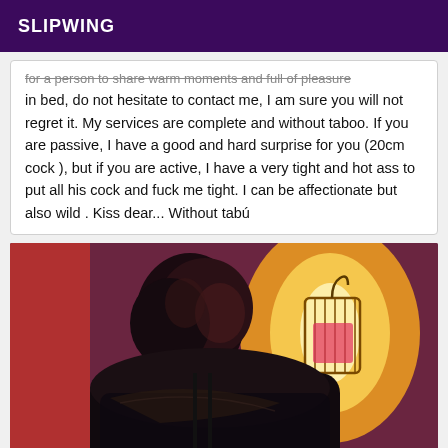SLIPWING
for a person to share warm moments and full of pleasure in bed, do not hesitate to contact me, I am sure you will not regret it. My services are complete and without taboo. If you are passive, I have a good and hard surprise for you (20cm cock ), but if you are active, I have a very tight and hot ass to put all his cock and fuck me tight. I can be affectionate but also wild . Kiss dear... Without tabú
[Figure (photo): A person photographed from behind, with dark hair and dark clothing, in a dimly lit warm-toned room with a decorative cage lantern glowing in the background.]